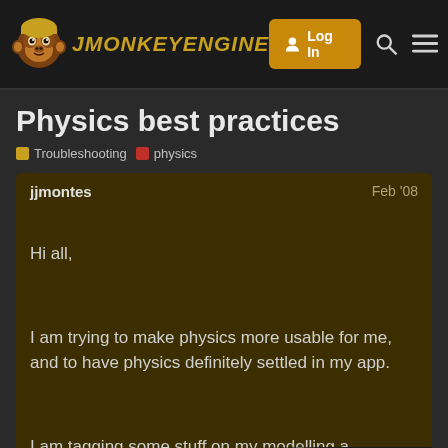jMonkeyEngine — Log In
Physics best practices
Troubleshooting  physics
jjmontes
Feb '08
Hi all,
I am trying to make physics more usable for me, and to have physics definitely settled in my app.
I am tagging some stuff on my modelling a
So far this has worked well for renderstate
1 / 2